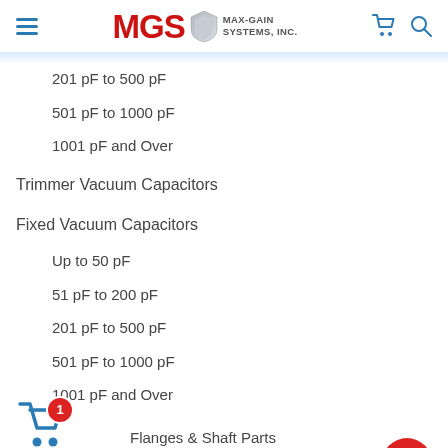MGS MAX-GAIN SYSTEMS, INC.
201 pF to 500 pF
501 pF to 1000 pF
1001 pF and Over
Trimmer Vacuum Capacitors
Fixed Vacuum Capacitors
Up to 50 pF
51 pF to 200 pF
201 pF to 500 pF
501 pF to 1000 pF
1001 pF and Over
Flanges & Shaft Parts
Vacuum Relays